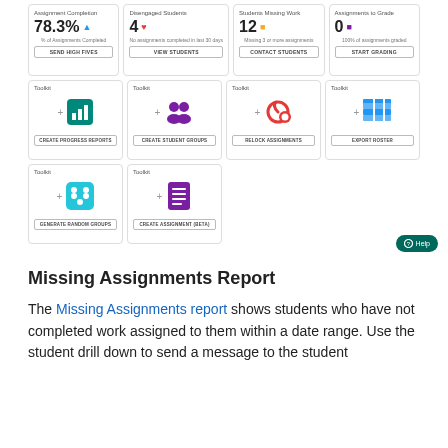[Figure (screenshot): Dashboard screenshot showing 8 stat/toolkit cards in a grid. Top row: Assignment Completion 78.3%, Disengaged Students 4, Students Missing Work 12, Assignments to Grade 0. Middle row: 4 Toolkit cards for Create Progress Reports, Create Student Groups, Relock Assignments, Export Roster. Bottom row: 2 Toolkit cards for Generate Random Groups, Create Assignment (Beta).]
Missing Assignments Report
The Missing Assignments report shows students who have not completed work assigned to them within a date range. Use the student drill down to send a message to the student